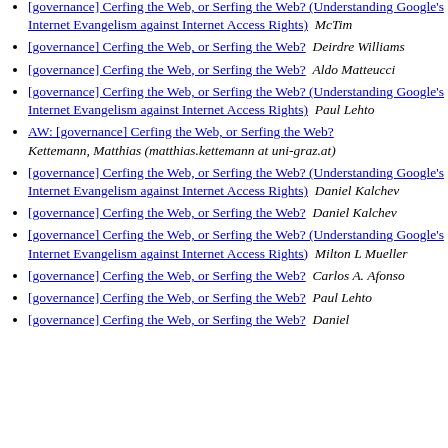[governance] Cerfing the Web, or Serfing the Web? (Understanding Google's Internet Evangelism against Internet Access Rights)  McTim
[governance] Cerfing the Web, or Serfing the Web?  Deirdre Williams
[governance] Cerfing the Web, or Serfing the Web?  Aldo Matteucci
[governance] Cerfing the Web, or Serfing the Web? (Understanding Google's Internet Evangelism against Internet Access Rights)  Paul Lehto
AW: [governance] Cerfing the Web, or Serfing the Web?  Kettemann, Matthias (matthias.kettemann at uni-graz.at)
[governance] Cerfing the Web, or Serfing the Web? (Understanding Google's Internet Evangelism against Internet Access Rights)  Daniel Kalchev
[governance] Cerfing the Web, or Serfing the Web?  Daniel Kalchev
[governance] Cerfing the Web, or Serfing the Web? (Understanding Google's Internet Evangelism against Internet Access Rights)  Milton L Mueller
[governance] Cerfing the Web, or Serfing the Web?  Carlos A. Afonso
[governance] Cerfing the Web, or Serfing the Web?  Paul Lehto
[governance] Cerfing the Web, or Serfing the Web?  Daniel